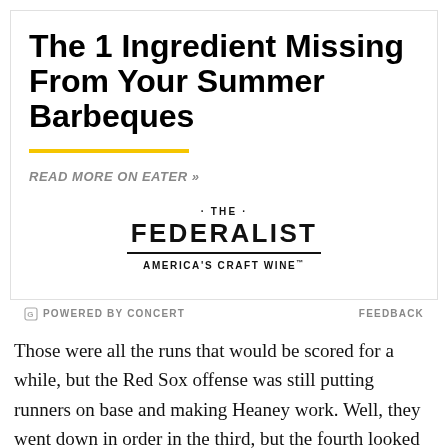The 1 Ingredient Missing From Your Summer Barbeques
READ MORE ON EATER »
[Figure (logo): The Federalist America's Craft Wine logo]
POWERED BY CONCERT    FEEDBACK
Those were all the runs that would be scored for a while, but the Red Sox offense was still putting runners on base and making Heaney work. Well, they went down in order in the third, but the fourth looked like it